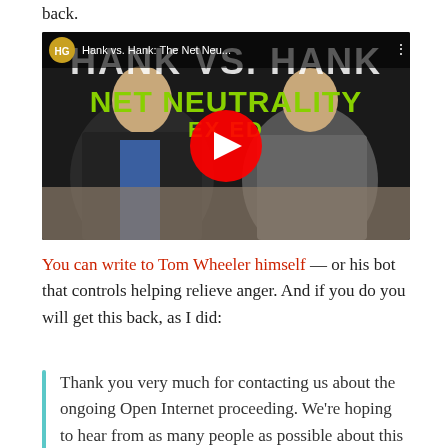back.
[Figure (screenshot): YouTube video thumbnail showing two people sitting at a table facing each other. The video title overlay reads 'Hank vs. Hank: The Net Neu...' with large text 'HANK VS. HANK' and 'NET NEUTRALITY EXPLAINED' on a dark background. A red YouTube play button is centered over the image.]
You can write to Tom Wheeler himself — or his bot that controls helping relieve anger. And if you do you will get this back, as I did:
Thank you very much for contacting us about the ongoing Open Internet proceeding. We're hoping to hear from as many people as possible about this critical issue, and so I'm very glad that we can include